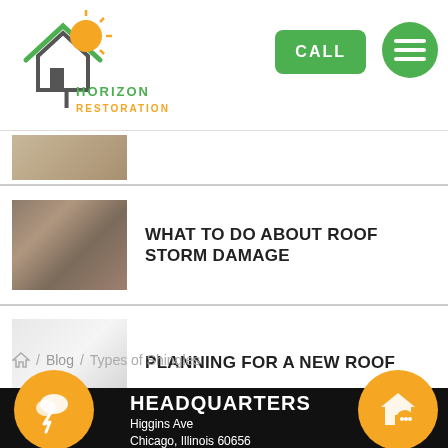[Figure (logo): Horizon Restoration logo with house and sun icon, green and orange colors]
CALL
WHAT TO DO ABOUT ROOF STORM DAMAGE
PLANNING FOR A NEW ROOF
Home / Blog / Types of Shingles
HEADQUARTERS
Higgins Ave
Chicago, Illinois 60656
(877) 818-7771